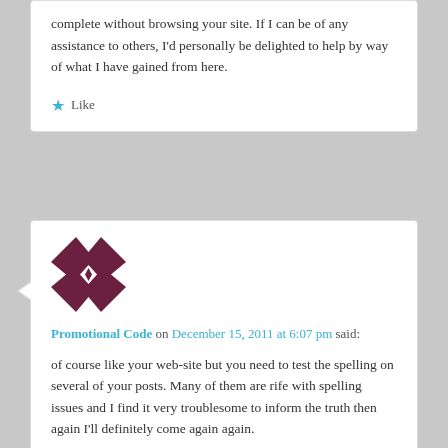complete without browsing your site. If I can be of any assistance to others, I'd personally be delighted to help by way of what I have gained from here.
★ Like
[Figure (illustration): Gravatar avatar — dark maroon geometric snowflake/pinwheel pattern on white background]
Promotional Code on December 15, 2011 at 6:07 pm said:
of course like your web-site but you need to test the spelling on several of your posts. Many of them are rife with spelling issues and I find it very troublesome to inform the truth then again I'll definitely come again again.